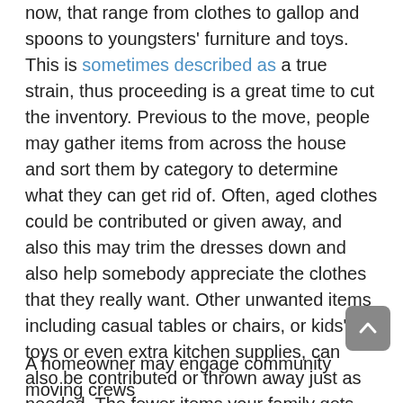now, that range from clothes to gallop and spoons to youngsters' furniture and toys. This is sometimes described as a true strain, thus proceeding is a great time to cut the inventory. Previous to the move, people may gather items from across the house and sort them by category to determine what they can get rid of. Often, aged clothes could be contributed or given away, and also this may trim the dresses down and also help somebody appreciate the clothes that they really want. Other unwanted items including casual tables or chairs, or kids' toys or even extra kitchen supplies, can also be contributed or thrown away just as needed. The fewer items your family gets, the easier it may be to send the entire load to the address, and also the longer room there will be at the new house.
A homeowner may engage community moving crews